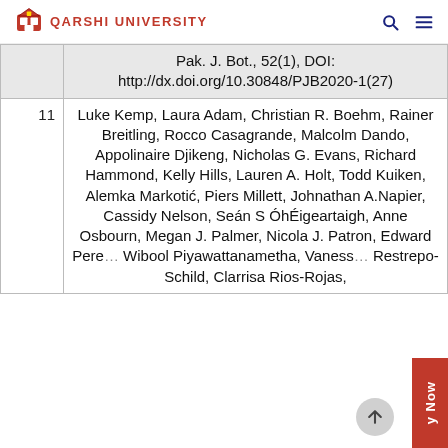QARSHI UNIVERSITY
| # | Reference |
| --- | --- |
|  | Pak. J. Bot., 52(1), DOI: http://dx.doi.org/10.30848/PJB2020-1(27) |
| 11 | Luke Kemp, Laura Adam, Christian R. Boehm, Rainer Breitling, Rocco Casagrande, Malcolm Dando, Appolinaire Djikeng, Nicholas G. Evans, Richard Hammond, Kelly Hills, Lauren A. Holt, Todd Kuiken, Alemka Markotić, Piers Millett, Johnathan A.Napier, Cassidy Nelson, Seán S ÓhÉigeartaigh, Anne Osbourn, Megan J. Palmer, Nicola J. Patron, Edward Pere... Wibool Piyawattanametha, Vanessa Restrepo-Schild, Clarrisa Rios-Rojas, |